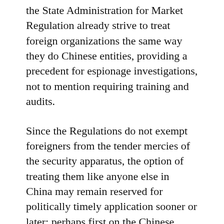the State Administration for Market Regulation already strive to treat foreign organizations the same way they do Chinese entities, providing a precedent for espionage investigations, not to mention requiring training and audits.
Since the Regulations do not exempt foreigners from the tender mercies of the security apparatus, the option of treating them like anyone else in China may remain reserved for politically timely application sooner or later: perhaps first on the Chinese mainland in tier 2 cities and below (e.g. Dalian, Shenyang, Zhuhai, Xi'an, Fuzhou) where few if any foreign journalists are present, then in tier 1 municipalities like Beijing, Guangzhou, and